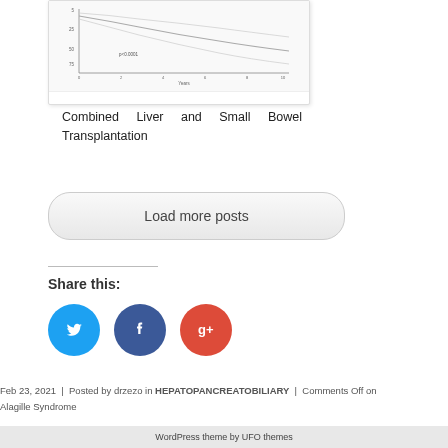[Figure (continuous-plot): Survival curve chart showing declining lines over time with confidence intervals, p<0.0001 annotation]
Combined Liver and Small Bowel Transplantation
Load more posts
Share this:
[Figure (infographic): Social media share buttons: Twitter (blue circle), Facebook (dark blue circle), Google+ (red circle)]
Feb 23, 2021 | Posted by drzezo in HEPATOPANCREATOBILIARY | Comments Off on Alagille Syndrome
WordPress theme by UFO themes